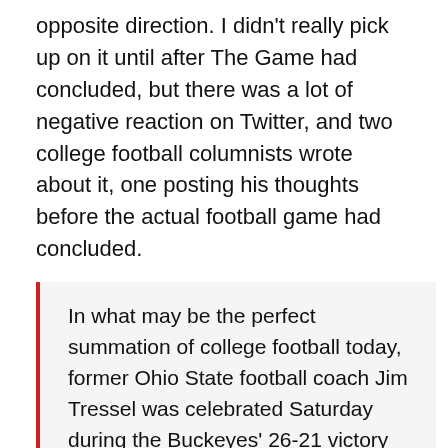opposite direction. I didn't really pick up on it until after The Game had concluded, but there was a lot of negative reaction on Twitter, and two college football columnists wrote about it, one posting his thoughts before the actual football game had concluded.
Over on Yahoo!, Dan Wetzel wrote that applauding Tressel proved that at Ohio State 'winning matters most', and Wetzel veers off course on his very first sentence:
In what may be the perfect summation of college football today, former Ohio State football coach Jim Tressel was celebrated Saturday during the Buckeyes' 26-21 victory over Michigan even though it was his breaking of NCAA rules that led to the program's current postseason ban.